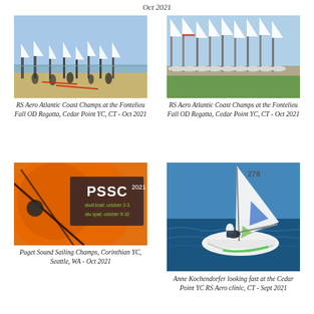Oct 2021
[Figure (photo): Sailing boats on beach/shore at RS Aero Atlantic Coast Champs at the Fontelieu Fall OD Regatta, Cedar Point YC, CT - Oct 2021]
[Figure (photo): Row of RS Aero sailboats lined up at RS Aero Atlantic Coast Champs at the Fontelieu Fall OD Regatta, Cedar Point YC, CT - Oct 2021]
RS Aero Atlantic Coast Champs at the Fontelieu Fall OD Regatta, Cedar Point YC, CT - Oct 2021
RS Aero Atlantic Coast Champs at the Fontelieu Fall OD Regatta, Cedar Point YC, CT - Oct 2021
[Figure (photo): Orange race mark buoy with PSSC 2021 text overlay for Puget Sound Sailing Champs, Corinthian YC, Seattle, WA - Oct 2021]
[Figure (photo): Anne Kochendorfer sailing an RS Aero dinghy on blue water at Cedar Point YC RS Aero clinic, CT - Sept 2021]
Puget Sound Sailing Champs, Corinthian YC, Seattle, WA - Oct 2021
Anne Kochendorfer looking fast at the Cedar Point YC RS Aero clinic, CT - Sept 2021